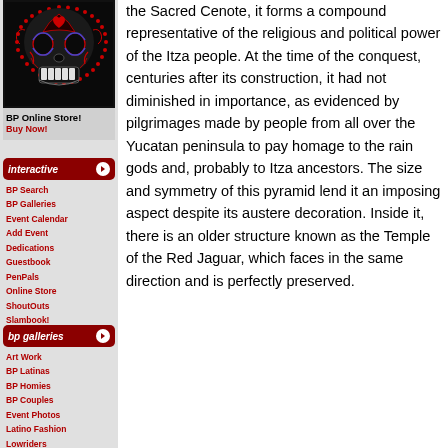[Figure (illustration): Decorative sugar skull / Day of the Dead style skull illustration with red and blue ornamental patterns on black background]
BP Online Store!
Buy Now!
[Figure (other): Interactive navigation banner button in dark red with white italic text 'interactive' and white arrow circle on right]
BP Search
BP Galleries
Event Calendar
Add Event
Dedications
Guestbook
PenPals
Online Store
ShoutOuts
Slambook!
[Figure (other): BP Galleries navigation banner button in dark red with white italic text 'bp galleries' and white arrow circle on right]
Art Work
BP Latinas
BP Homies
BP Couples
Event Photos
Latino Fashion
Lowriders
Graffiti
Tattoos
the Sacred Cenote, it forms a compound representative of the religious and political power of the Itza people. At the time of the conquest, centuries after its construction, it had not diminished in importance, as evidenced by pilgrimages made by people from all over the Yucatan peninsula to pay homage to the rain gods and, probably to Itza ancestors. The size and symmetry of this pyramid lend it an imposing aspect despite its austere decoration. Inside it, there is an older structure known as the Temple of the Red Jaguar, which faces in the same direction and is perfectly preserved.